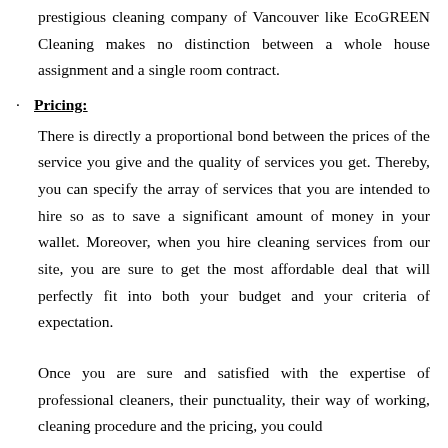prestigious cleaning company of Vancouver like EcoGREEN Cleaning makes no distinction between a whole house assignment and a single room contract.
Pricing:
There is directly a proportional bond between the prices of the service you give and the quality of services you get. Thereby, you can specify the array of services that you are intended to hire so as to save a significant amount of money in your wallet. Moreover, when you hire cleaning services from our site, you are sure to get the most affordable deal that will perfectly fit into both your budget and your criteria of expectation.
Once you are sure and satisfied with the expertise of professional cleaners, their punctuality, their way of working, cleaning procedure and the pricing, you could